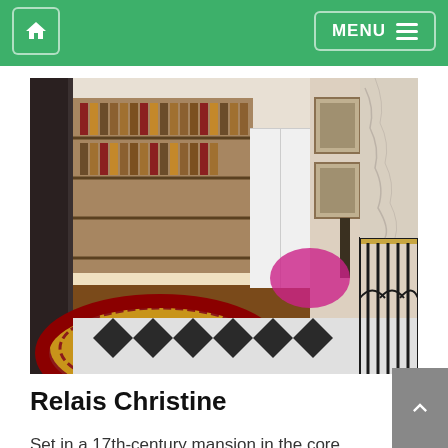Home | MENU
[Figure (photo): Interior of Relais Christine hotel lobby showing ornate reception desk with bookshelves behind, a colorful round sofa chair with red velvet and patterned upholstery, black and white diamond-pattern marble floor, framed pictures on walls, and elegant wrought-iron staircase railing]
Relais Christine
Set in a 17th-century mansion in the core of Saint-Germain-des-Prés, Relais Christine is a